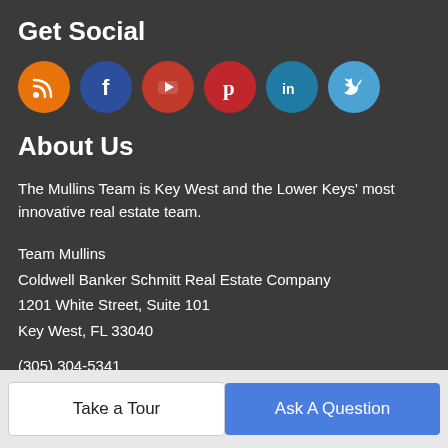Get Social
[Figure (illustration): Row of six colored social media icon circles: RSS (orange), Facebook (dark blue), YouTube (red), Pinterest (red), LinkedIn (teal), Twitter (light blue)]
About Us
The Mullins Team is Key West and the Lower Keys' most innovative real estate team.
Team Mullins
Coldwell Banker Schmitt Real Estate Company
1201 White Street, Suite 101
Key West, FL 33040
(305) 304-5341
Take a Tour  |  Ask A Question